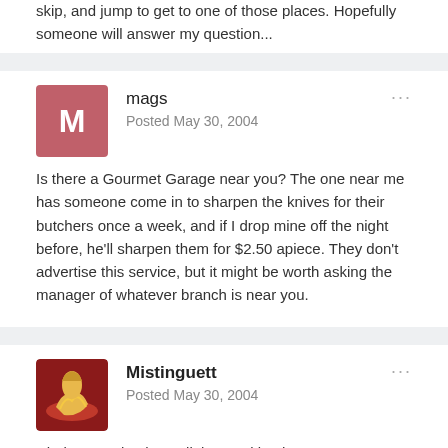skip, and jump to get to one of those places. Hopefully someone will answer my question...
mags
Posted May 30, 2004

Is there a Gourmet Garage near you? The one near me has someone come in to sharpen the knives for their butchers once a week, and if I drop mine off the night before, he'll sharpen them for $2.50 apiece. They don't advertise this service, but it might be worth asking the manager of whatever branch is near you.
Mistinguett
Posted May 30, 2004

Chelsea market has a little stand by the moroccan store, I think the sign said only on wednesday but I don't remember the hours.